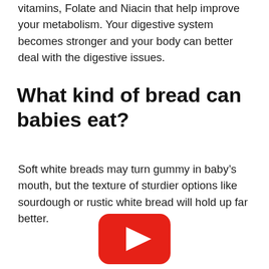vitamins, Folate and Niacin that help improve your metabolism. Your digestive system becomes stronger and your body can better deal with the digestive issues.
What kind of bread can babies eat?
Soft white breads may turn gummy in baby’s mouth, but the texture of sturdier options like sourdough or rustic white bread will hold up far better.
[Figure (other): YouTube play button icon — red rounded rectangle with white triangle play arrow]